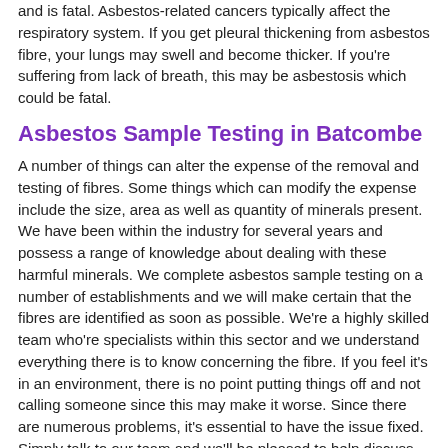and is fatal. Asbestos-related cancers typically affect the respiratory system. If you get pleural thickening from asbestos fibre, your lungs may swell and become thicker. If you're suffering from lack of breath, this may be asbestosis which could be fatal.
Asbestos Sample Testing in Batcombe
A number of things can alter the expense of the removal and testing of fibres. Some things which can modify the expense include the size, area as well as quantity of minerals present. We have been within the industry for several years and possess a range of knowledge about dealing with these harmful minerals. We complete asbestos sample testing on a number of establishments and we will make certain that the fibres are identified as soon as possible. We're a highly skilled team who're specialists within this sector and we understand everything there is to know concerning the fibre. If you feel it's in an environment, there is no point putting things off and not calling someone since this may make it worse. Since there are numerous problems, it's essential to have the issue fixed. Simply talk to our team and we'll be pleased to help discuss the problem with you. All you have to do is complete the enquiry form on this page and we'll answer instantly.